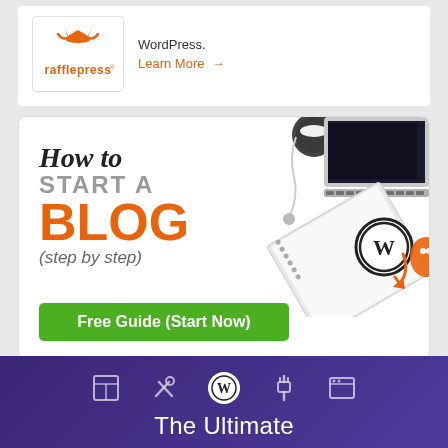[Figure (logo): RafflePress logo - orange crown/hands icon above text 'rafflepress' in orange]
WordPress.
Learn More →
[Figure (infographic): How to START A BLOG (step by step) promotional banner with laptop, coffee cup, WordPress notebook, green Free Guide (Start Now) button]
[Figure (infographic): Dark purple banner with icons (table, tools, WordPress, plugin, browser) and text 'The Ultimate']